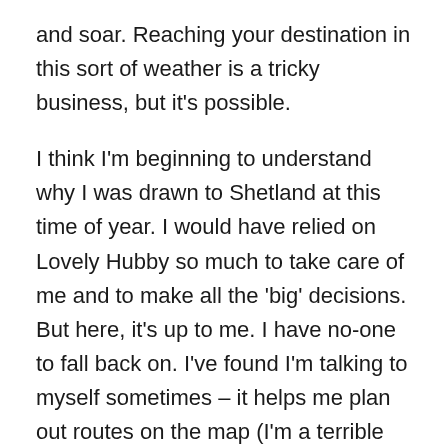and soar. Reaching your destination in this sort of weather is a tricky business, but it's possible.

I think I'm beginning to understand why I was drawn to Shetland at this time of year. I would have relied on Lovely Hubby so much to take care of me and to make all the 'big' decisions. But here, it's up to me. I have no-one to fall back on. I've found I'm talking to myself sometimes – it helps me plan out routes on the map (I'm a terrible map-reader with no sense of direction), or work out ferry timetables, and time and distances without all the challenges of everyday life. I suppose that I'm starting to feel not quite so useless, that although the biggest and best part of me has been taken away, I am still me, it's just that I have to work out how the empty part works now. Sometimes it seems the rest of me ignores the empty part and compensates for the